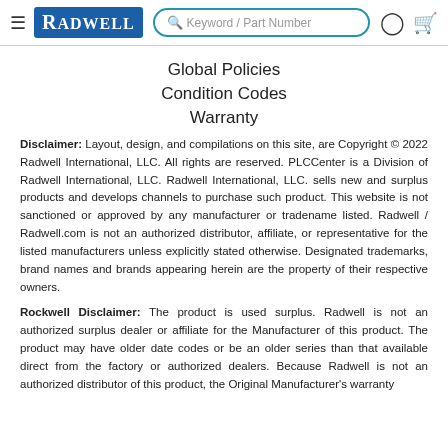[Figure (screenshot): Radwell website navigation bar with hamburger menu, Radwell logo, keyword/part number search input, user account icon, and shopping cart icon]
Global Policies
Condition Codes
Warranty
Disclaimer: Layout, design, and compilations on this site, are Copyright © 2022 Radwell International, LLC. All rights are reserved. PLCCenter is a Division of Radwell International, LLC. Radwell International, LLC. sells new and surplus products and develops channels to purchase such product. This website is not sanctioned or approved by any manufacturer or tradename listed. Radwell / Radwell.com is not an authorized distributor, affiliate, or representative for the listed manufacturers unless explicitly stated otherwise. Designated trademarks, brand names and brands appearing herein are the property of their respective owners.
Rockwell Disclaimer: The product is used surplus. Radwell is not an authorized surplus dealer or affiliate for the Manufacturer of this product. The product may have older date codes or be an older series than that available direct from the factory or authorized dealers. Because Radwell is not an authorized distributor of this product, the Original Manufacturer's warranty